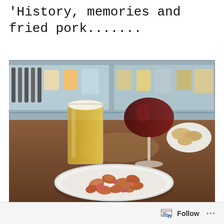'History, memories and fried pork.......
[Figure (photo): A restaurant bar scene showing a plate of fried pork pieces on a white plate in the foreground, a glass of beer and a glass of red wine in the background, with bread on a plate to the right, all on a wooden bar surface with a refrigerated display case visible behind.]
Follow ...